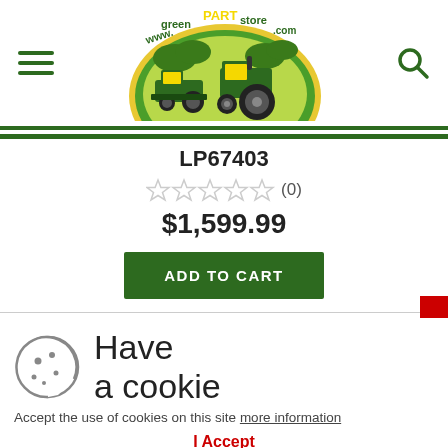[Figure (logo): www.greenPARTstore.com logo with tractor and lawn mower illustration]
LP67403
☆☆☆☆☆ (0)
$1,599.99
ADD TO CART
Have a cookie
Accept the use of cookies on this site more information
I Accept